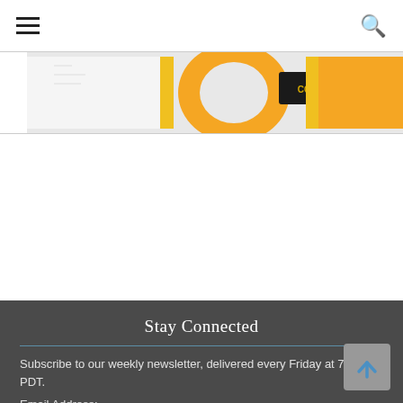≡  [navigation menu and search icon]
[Figure (photo): Partial view of a college banner or jersey with orange and yellow colors, text reading 'COLLEGE' visible on a dark background label]
Stay Connected
Subscribe to our weekly newsletter, delivered every Friday at 7 a.m. PDT.
Email Address: